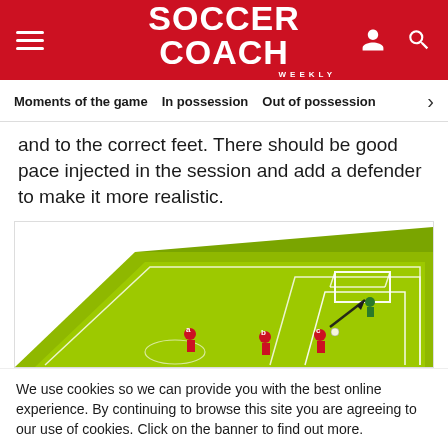SOCCER COACH WEEKLY
Moments of the game  In possession  Out of possession
and to the correct feet. There should be good pace injected in the session and add a defender to make it more realistic.
[Figure (illustration): A 3D isometric soccer coaching drill diagram showing a green pitch with white markings, a goal, a goalkeeper, and three red-shirted players with movement arrows.]
We use cookies so we can provide you with the best online experience. By continuing to browse this site you are agreeing to our use of cookies. Click on the banner to find out more.